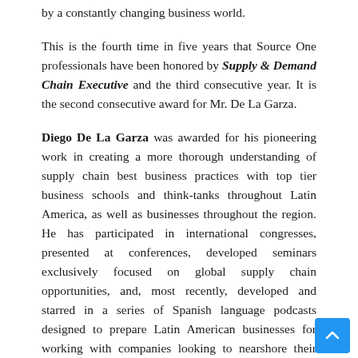by a constantly changing business world.
This is the fourth time in five years that Source One professionals have been honored by Supply & Demand Chain Executive and the third consecutive year. It is the second consecutive award for Mr. De La Garza.
Diego De La Garza was awarded for his pioneering work in creating a more thorough understanding of supply chain best business practices with top tier business schools and think-tanks throughout Latin America, as well as businesses throughout the region. He has participated in international congresses, presented at conferences, developed seminars exclusively focused on global supply chain opportunities, and, most recently, developed and starred in a series of Spanish language podcasts designed to prepare Latin American businesses for working with companies looking to nearshore their production.